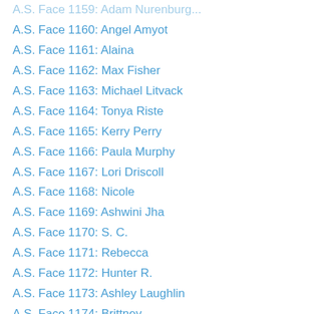A.S. Face 1160: Angel Amyot
A.S. Face 1161: Alaina
A.S. Face 1162: Max Fisher
A.S. Face 1163: Michael Litvack
A.S. Face 1164: Tonya Riste
A.S. Face 1165: Kerry Perry
A.S. Face 1166: Paula Murphy
A.S. Face 1167: Lori Driscoll
A.S. Face 1168: Nicole
A.S. Face 1169: Ashwini Jha
A.S. Face 1170: S. C.
A.S. Face 1171: Rebecca
A.S. Face 1172: Hunter R.
A.S. Face 1173: Ashley Laughlin
A.S. Face 1174: Brittney
A.S. Face 1175: Dawn Vargo Rose
A.S. Face 1176: Libby Lozano
A.S. Face 1177: Alicia Connelly
A.S. Face 1178: Peter
A.S. Face 1179: Henry Rosen...